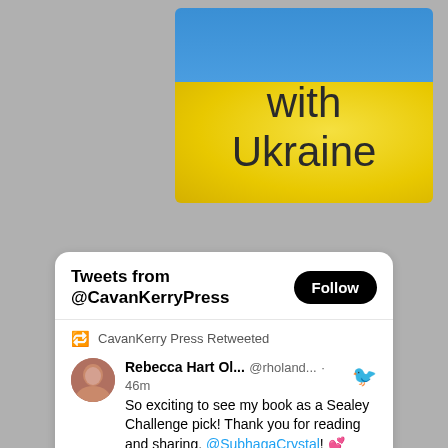[Figure (illustration): Ukrainian flag with text 'with Ukraine' overlaid. Top portion is blue, bottom portion is yellow with radial gradient. Dark text reads 'with' and 'Ukraine'.]
Tweets from @CavanKerryPress
Follow
CavanKerry Press Retweeted
Rebecca Hart Ol... @rholand... · 46m
So exciting to see my book as a Sealey Challenge pick! Thank you for reading and sharing, @SubhagaCrystal! 💕